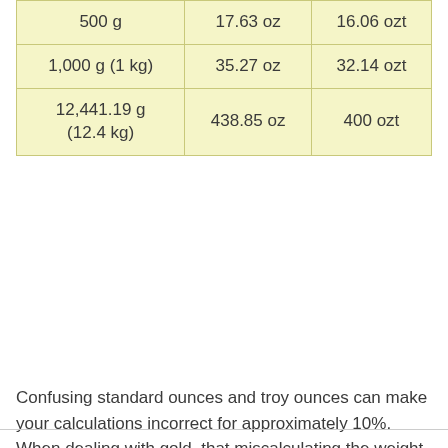| 500 g | 17.63 oz | 16.06 ozt |
| 1,000 g (1 kg) | 35.27 oz | 32.14 ozt |
| 12,441.19 g
(12.4 kg) | 438.85 oz | 400 ozt |
Confusing standard ounces and troy ounces can make your calculations incorrect for approximately 10%. When dealing with gold, that miscalculating the weight can lead to money loss.